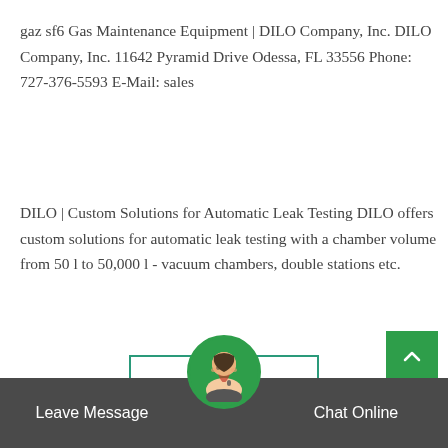gaz sf6 Gas Maintenance Equipment | DILO Company, Inc. DILO Company, Inc. 11642 Pyramid Drive Odessa, FL 33556 Phone: 727-376-5593 E-Mail: sales
DILO | Custom Solutions for Automatic Leak Testing DILO offers custom solutions for automatic leak testing with a chamber volume from 50 l to 50,000 l - vacuum chambers, double stations etc.
[Figure (other): Get Price button with teal/green border]
[Figure (other): Broken image placeholder labeled: 500kv 220kv sf6 circuit breaker Singapore]
Leave Message   Chat Online